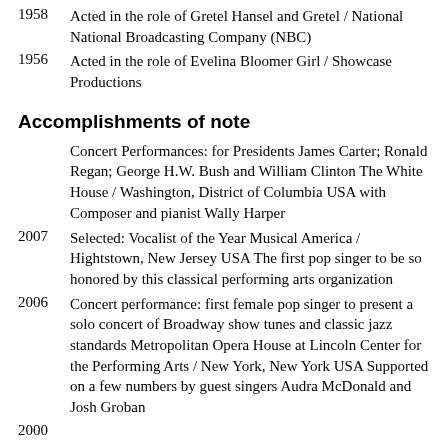1958
Acted in the role of Gretel Hansel and Gretel / National National Broadcasting Company (NBC)
1956
Acted in the role of Evelina Bloomer Girl / Showcase Productions
Accomplishments of note
Concert Performances: for Presidents James Carter; Ronald Regan; George H.W. Bush and William Clinton The White House / Washington, District of Columbia USA with Composer and pianist Wally Harper
2007
Selected: Vocalist of the Year Musical America / Hightstown, New Jersey USA The first pop singer to be so honored by this classical performing arts organization
2006
Concert performance: first female pop singer to present a solo concert of Broadway show tunes and classic jazz standards Metropolitan Opera House at Lincoln Center for the Performing Arts / New York, New York USA Supported on a few numbers by guest singers Audra McDonald and Josh Groban
2000